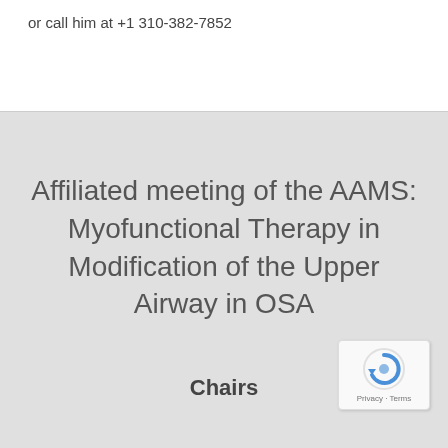or call him at +1 310-382-7852
Affiliated meeting of the AAMS: Myofunctional Therapy in Modification of the Upper Airway in OSA
Chairs
[Figure (logo): reCAPTCHA badge with spinning arrow logo and Privacy · Terms text]